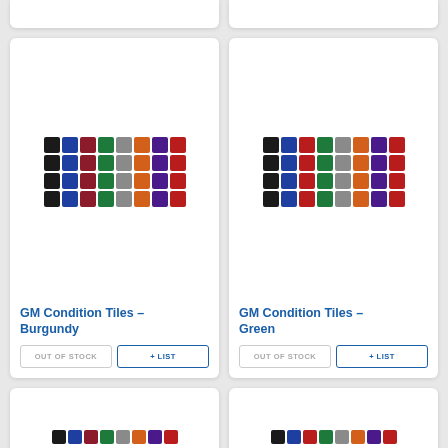[Figure (other): Top partial product cards (cut off at top)]
[Figure (illustration): GM Condition Tiles - Burgundy color swatch grid showing 4 rows x 8 columns of colored tiles in black, blue, burgundy/red, green, gray, orange, purple, red]
GM Condition Tiles - Burgundy
OUT OF STOCK
+ LIST
[Figure (illustration): GM Condition Tiles - Green color swatch grid showing 4 rows x 8 columns of colored tiles in black, blue, red, green, gray, orange, purple, red]
GM Condition Tiles - Green
OUT OF STOCK
+ LIST
[Figure (other): Bottom partial product cards (cut off at bottom) showing color tile rows]